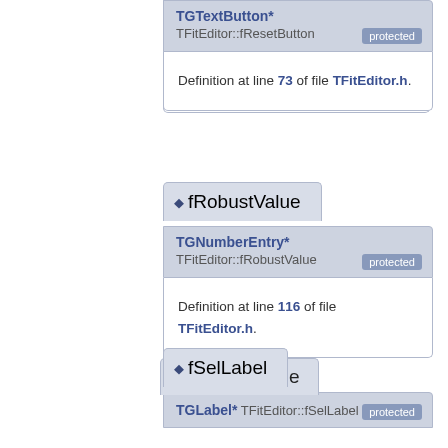TGTextButton* TFitEditor::fResetButton [protected]
Definition at line 73 of file TFitEditor.h.
fRobustValue
TGNumberEntry* TFitEditor::fRobustValue [protected]
Definition at line 116 of file TFitEditor.h.
fSelLabel
TGLabel* TFitEditor::fSelLabel [protected]